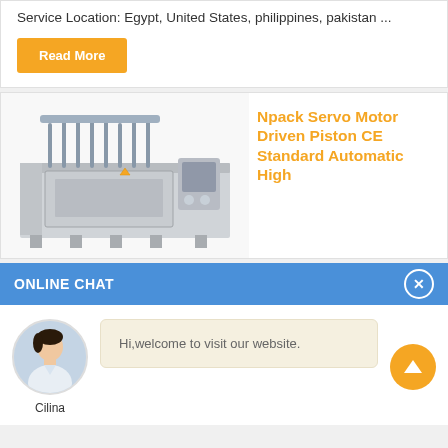Service Location: Egypt, United States, philippines, pakistan ...
Read More
[Figure (photo): Industrial piston filling machine with multiple nozzles and stainless steel frame]
Npack Servo Motor Driven Piston CE Standard Automatic High
ONLINE CHAT
[Figure (photo): Chat avatar of a woman named Cilina in a white shirt]
Hi,welcome to visit our website.
Cilina